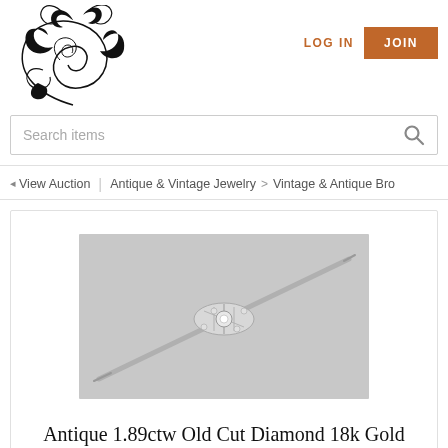[Figure (logo): Decorative ornate scrollwork/acanthus leaf logo in black ink]
LOG IN
JOIN
Search items
◄ View Auction | Antique & Vintage Jewelry > Vintage & Antique Bro
[Figure (photo): Antique 1.89ctw Old Cut Diamond 18k Gold Silver Bar Pin — a thin elongated bar brooch with diamond cluster centerpiece on light background]
Antique 1.89ctw Old Cut Diamond 18k Gold Silver Bar Pin